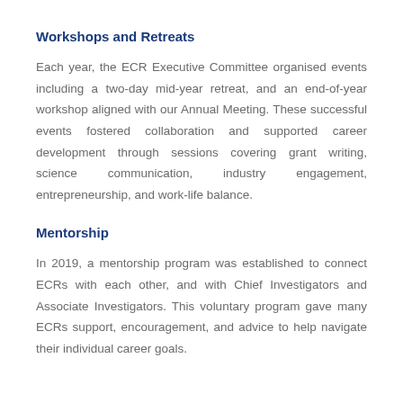Workshops and Retreats
Each year, the ECR Executive Committee organised events including a two-day mid-year retreat, and an end-of-year workshop aligned with our Annual Meeting. These successful events fostered collaboration and supported career development through sessions covering grant writing, science communication, industry engagement, entrepreneurship, and work-life balance.
Mentorship
In 2019, a mentorship program was established to connect ECRs with each other, and with Chief Investigators and Associate Investigators. This voluntary program gave many ECRs support, encouragement, and advice to help navigate their individual career goals.